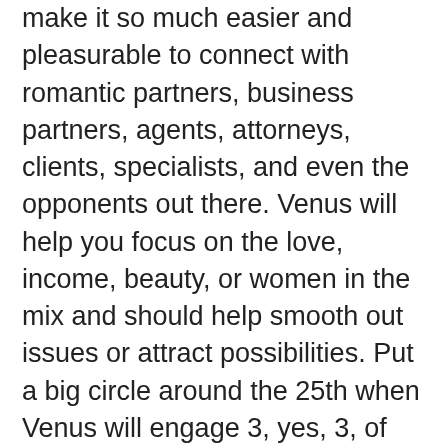make it so much easier and pleasurable to connect with romantic partners, business partners, agents, attorneys, clients, specialists, and even the opponents out there. Venus will help you focus on the love, income, beauty, or women in the mix and should help smooth out issues or attract possibilities. Put a big circle around the 25th when Venus will engage 3, yes, 3, of the outer planets in one day. All aspects are positive so there is great potential for you this year with someone important over the love, money, beauty, or woman/women.
The Full Moon on the 13th is social for you Leo! This means it's a great time to celebrate with friends, to attend parties or gatherings, to reach a peak with some matter online, to wrap things up or achieve something with a group, to reach a high point with your aspirations, freedom or original projects, to see something big going on with astrology or charity interests, or to be social in some other big way. It's a